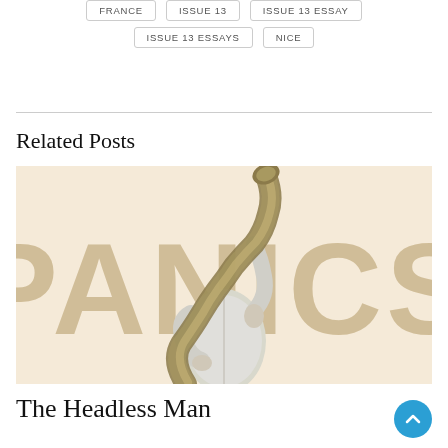FRANCE
ISSUE 13
ISSUE 13 ESSAY
ISSUE 13 ESSAYS
NICE
Related Posts
[Figure (illustration): Collage-style illustration: large tan serif text 'PANICS' as background, over which a figure in a white/grey top holds a large snake that wraps around their body and head area, on a warm cream/peach background.]
The Headless Man